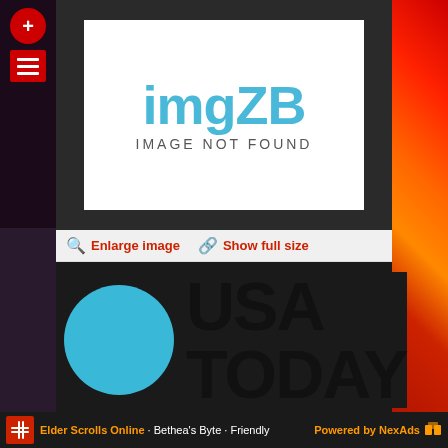[Figure (screenshot): imgZB IMAGE NOT FOUND placeholder box with logo text in cyan and subtitle 'IMAGE NOT FOUND' in gray]
🔍 Enlarge image   🔗 Show full size
[Figure (logo): USA TODAY logo with blue circle on the left and bold black 'USA TODAY' text on dark background]
" N'dea Yancey-Bragg, Raisa Habersham and Grace Hauck of USA TODAY previously wrote :
🔍 Enlarge image   🔗 Show full size
[Figure (photo): Close-up photo of a man with glasses looking down, blurred background]
Elder Scrolls Online · Bethea's Byte · Friendly   Powered by NexAds